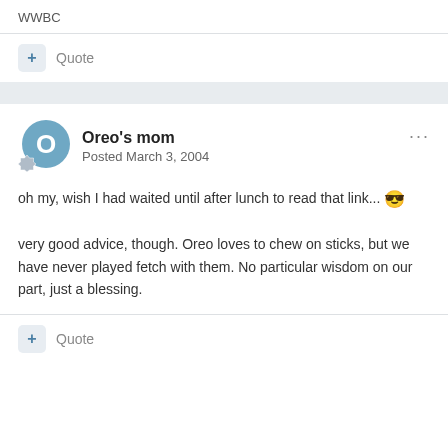WWBC
+ Quote
Oreo's mom
Posted March 3, 2004
oh my, wish I had waited until after lunch to read that link... 😎
very good advice, though. Oreo loves to chew on sticks, but we have never played fetch with them. No particular wisdom on our part, just a blessing.
+ Quote